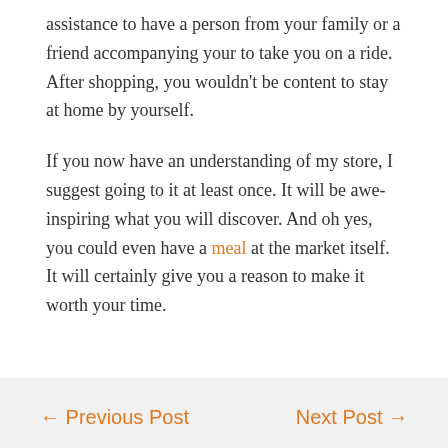assistance to have a person from your family or a friend accompanying your to take you on a ride. After shopping, you wouldn't be content to stay at home by yourself.
If you now have an understanding of my store, I suggest going to it at least once. It will be awe-inspiring what you will discover. And oh yes, you could even have a meal at the market itself. It will certainly give you a reason to make it worth your time.
← Previous Post
Next Post →
IbfanarabWorld.com
[Figure (logo): Circular logo with black outer ring and red interior, partially visible at bottom of page]